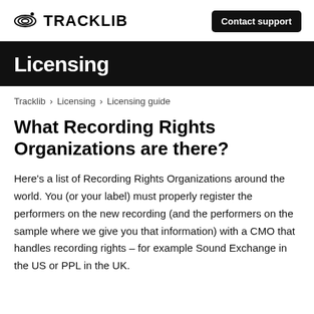TRACKLIB — Contact support
Licensing
Tracklib > Licensing > Licensing guide
What Recording Rights Organizations are there?
Here's a list of Recording Rights Organizations around the world. You (or your label) must properly register the performers on the new recording (and the performers on the sample where we give you that information) with a CMO that handles recording rights – for example Sound Exchange in the US or PPL in the UK.